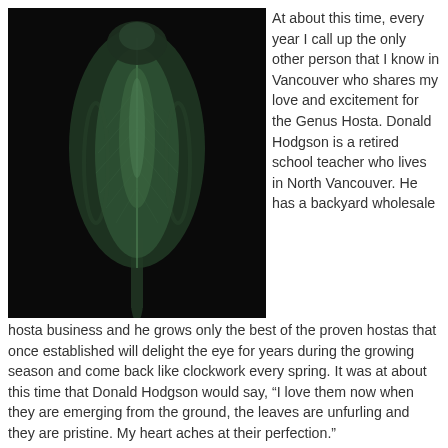[Figure (photo): Close-up photograph of a hosta plant shoot emerging, showing a tightly furled green leaf bud against a dark/black background. The leaf is backlit, showing delicate vein details.]
At about this time, every year I call up the only other person that I know in Vancouver who shares my love and excitement for the Genus Hosta. Donald Hodgson is a retired school teacher who lives in North Vancouver. He has a backyard wholesale hosta business and he grows only the best of the proven hostas that once established will delight the eye for years during the growing season and come back like clockwork every spring. It was at about this time that Donald Hodgson would say, “I love them now when they are emerging from the ground, the leaves are unfurling and they are pristine. My heart aches at their perfection.”